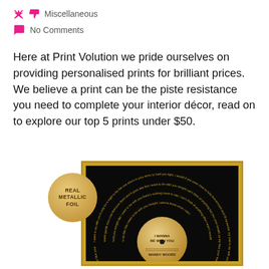Miscellaneous
No Comments
Here at Print Volution we pride ourselves on providing personalised prints for brilliant prices. We believe a print can be the piste resistance you need to complete your interior décor, read on to explore our top 5 prints under $50.
[Figure (photo): A framed vinyl record art print on a black background with gold metallic foil text showing song lyrics arranged in concentric circles. The center label shows 'I WANNA BE WITH YOU' and 'MANDY MOORE'. A gold metallic foil badge/seal is overlaid in the upper left corner with the text 'REAL METALLIC FOIL'.]